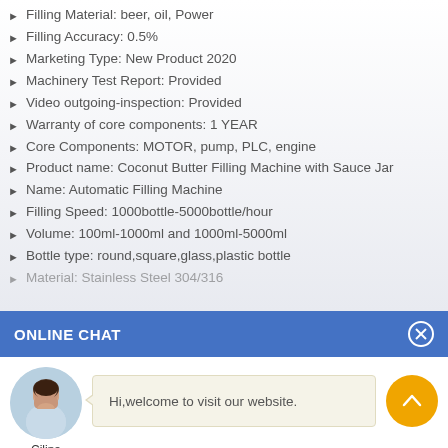Filling Material: beer, oil, Power
Filling Accuracy: 0.5%
Marketing Type: New Product 2020
Machinery Test Report: Provided
Video outgoing-inspection: Provided
Warranty of core components: 1 YEAR
Core Components: MOTOR, pump, PLC, engine
Product name: Coconut Butter Filling Machine with Sauce Jar
Name: Automatic Filling Machine
Filling Speed: 1000bottle-5000bottle/hour
Volume: 100ml-1000ml and 1000ml-5000ml
Bottle type: round,square,glass,plastic bottle
Material: Stainless Steel 304/316
ONLINE CHAT
Hi,welcome to visit our website.
Cilina